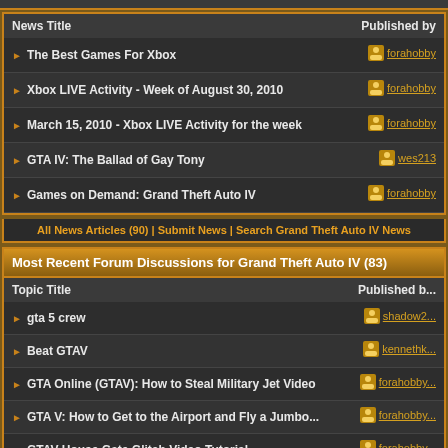| News Title | Published by |
| --- | --- |
| The Best Games For Xbox | forahobby |
| Xbox LIVE Activity - Week of August 30, 2010 | forahobby |
| March 15, 2010 - Xbox LIVE Activity for the week | forahobby |
| GTA IV: The Ballad of Gay Tony | wes213 |
| Games on Demand: Grand Theft Auto IV | forahobby |
All News Articles (90) | Submit News | Search Grand Theft Auto IV News
Most Recent Forum Discussions for Grand Theft Auto IV (83)
| Topic Title | Published by |
| --- | --- |
| gta 5 crew | shadow2... |
| Beat GTAV | kennethk... |
| GTA Online (GTAV): How to Steal Military Jet Video | forahobby... |
| GTA V: How to Get to the Airport and Fly a Jumbo... | forahobby... |
| GTAV House Gate Glitch Video Tutorial | forahobby... |
All Forum Topics (83) | Start New Forum Topic
HQ Grand Theft Auto IV Xbox Live Gamers (36)
[Figure (screenshot): Row of gamer thumbnails]